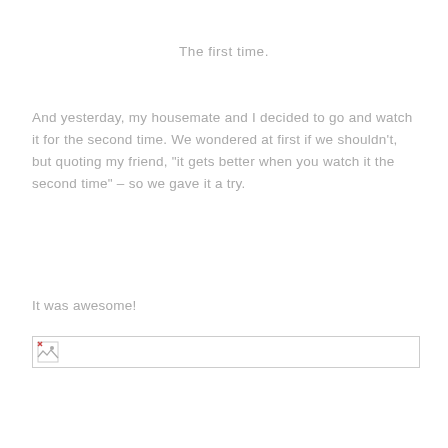The first time.
And yesterday, my housemate and I decided to go and watch it for the second time. We wondered at first if we shouldn't, but quoting my friend, "it gets better when you watch it the second time" – so we gave it a try.
It was awesome!
[Figure (other): Broken/missing image placeholder box with small broken image icon on the left]